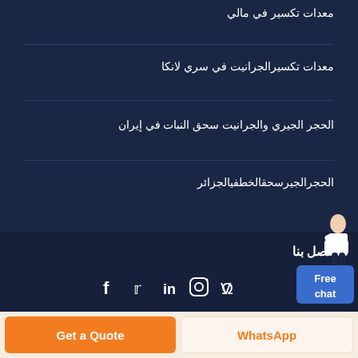معدات تكسير في مالي
معدات تكسيرالجرانيت في سري لانكا
الحجر الجيري والجرانيت سحق النبات في إيران
الحجرالجيرسحقالخطفيالجزائر
اتصل بنا
[Figure (infographic): Social media icons: Facebook, Twitter, LinkedIn, Instagram, Vimeo]
[Figure (infographic): Free chat widget with a figure of a customer service representative and a blue Free chat button]
Get a Quote
WhatsApp